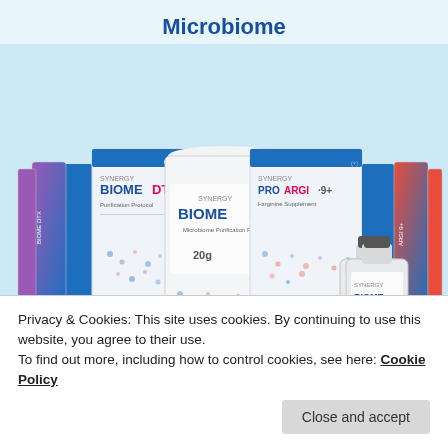Microbiome
[Figure (photo): Product group photo showing Synergy Microbiome product line including BiomeDTX box with stick packs, BiomeShake protein powder tub, ProArgi-9+ box with stick packs, Body Prime bottle, and BiomeActives bottle, arranged together on a light blue background.]
Privacy & Cookies: This site uses cookies. By continuing to use this website, you agree to their use.
To find out more, including how to control cookies, see here: Cookie Policy
Close and accept